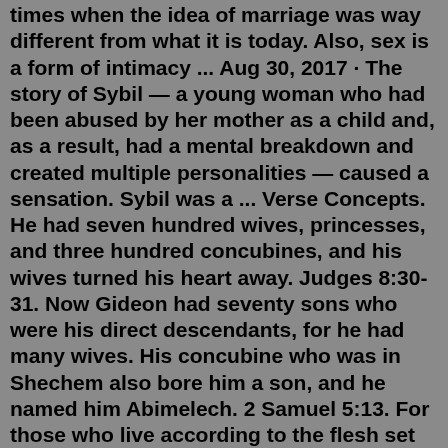times when the idea of marriage was way different from what it is today. Also, sex is a form of intimacy ... Aug 30, 2017 · The story of Sybil — a young woman who had been abused by her mother as a child and, as a result, had a mental breakdown and created multiple personalities — caused a sensation. Sybil was a ... Verse Concepts. He had seven hundred wives, princesses, and three hundred concubines, and his wives turned his heart away. Judges 8:30-31. Now Gideon had seventy sons who were his direct descendants, for he had many wives. His concubine who was in Shechem also bore him a son, and he named him Abimelech. 2 Samuel 5:13. For those who live according to the flesh set their minds on the things of the flesh, but those who live according to the Spirit set their minds on the things of the Spirit. ... 1 Corinthians 7:2 ESV / 11 helpful votes Not Helpful But because of the temptation to sexual immorality, each man should have his own wife and each woman her own husband.3) Living together is playing with